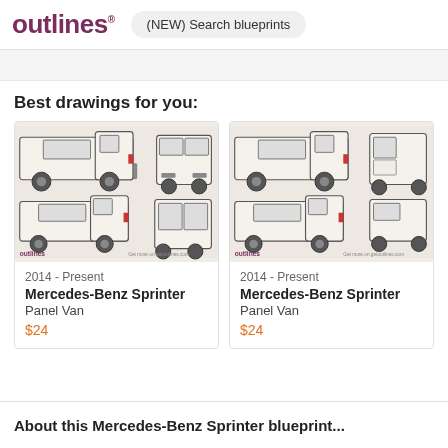outlines  (NEW) Search blueprints
Best drawings for you:
[Figure (illustration): Blueprint drawing of 2014-Present Mercedes-Benz Sprinter Panel Van showing side, front, and rear views on beige background with outlines logo]
2014 - Present
Mercedes-Benz Sprinter
Panel Van
$24
[Figure (illustration): Blueprint drawing of 2014-Present Mercedes-Benz Sprinter Panel Van showing side and rear views on beige background with outlines logo]
2014 - Present
Mercedes-Benz Sprinter
Panel Van
$24
About this Mercedes-Benz Sprinter blueprint...